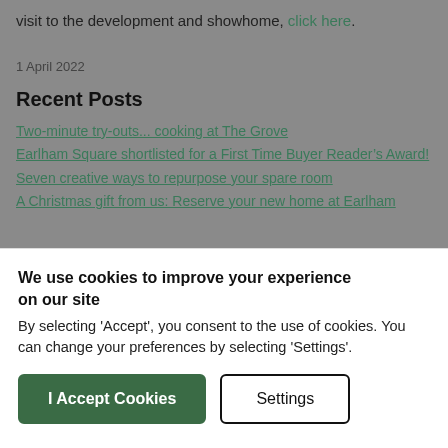visit to the development and showhome, click here.
1 April 2022
Recent Posts
Two-minute try-outs... cooking at The Grove
Earlham Square shortlisted for a First Time Buyer Reader's Award!
Seven creative ways to repurpose your spare room
A Christmas gift from us: Reserve your new home at Earlham
We use cookies to improve your experience on our site
By selecting 'Accept', you consent to the use of cookies. You can change your preferences by selecting 'Settings'.
I Accept Cookies
Settings